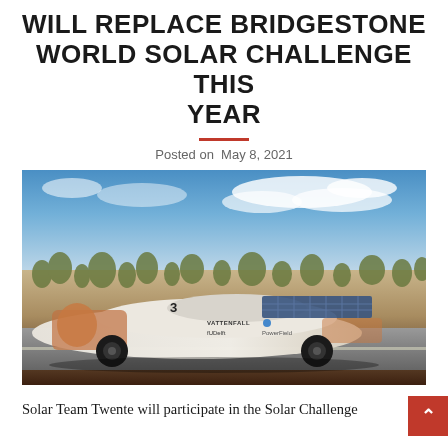WILL REPLACE BRIDGESTONE WORLD SOLAR CHALLENGE THIS YEAR
Posted on  May 8, 2021
[Figure (photo): A solar-powered racing car with a white body decorated with an orange lion and cross-hatch decals, branded with Vattenfall, TU Delft, and PowerField logos, driving on an outback road with desert scrubland and blue sky in the background. The car bears the number 3.]
Solar Team Twente will participate in the Solar Challenge